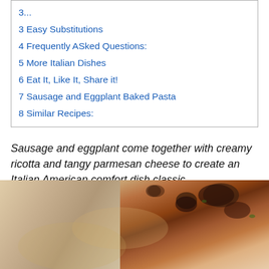3 Easy Substitutions
4 Frequently ASked Questions:
5 More Italian Dishes
6 Eat It, Like It, Share it!
7 Sausage and Eggplant Baked Pasta
8 Similar Recipes:
Sausage and eggplant come together with creamy ricotta and tangy parmesan cheese to create an Italian American comfort dish classic.
[Figure (photo): Close-up photo of sausage and eggplant baked pasta dish, showing browned cheese and meat on top with pasta visible underneath]